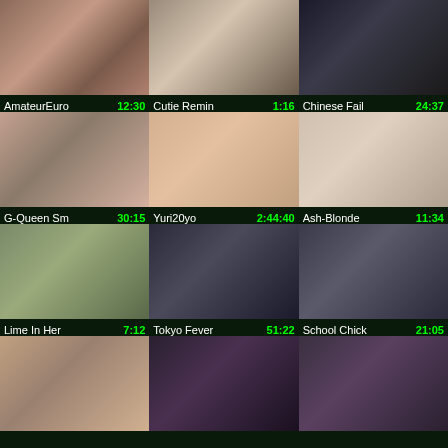[Figure (screenshot): Video thumbnail grid - row 1: AmateurEuro 12:30, Cutie Remin 1:16, Chinese Fail 24:37]
[Figure (screenshot): Video thumbnail grid - row 2: G-Queen Sm 30:15, Yuri20yo 2:44:40, Ash-Blonde 11:34]
[Figure (screenshot): Video thumbnail grid - row 3: Lime In Her 7:12, Tokyo Fever 51:22, School Chick 21:05]
[Figure (screenshot): Video thumbnail grid - row 4: three more thumbnails (partial)]